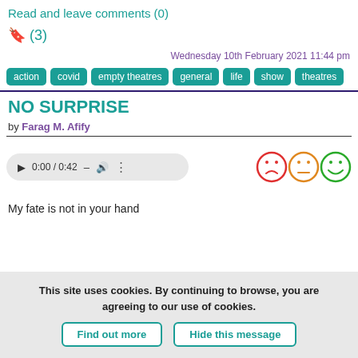Read and leave comments (0)
🔖 (3)
Wednesday 10th February 2021 11:44 pm
action  covid  empty theatres  general  life  show  theatres
NO SURPRISE
by Farag M. Afify
[Figure (other): Audio player showing 0:00 / 0:42 with play button, dash, volume and more icons; three emoji faces (sad red, neutral orange, happy green) for rating]
My fate is not in your hand
This site uses cookies. By continuing to browse, you are agreeing to our use of cookies. Find out more  Hide this message